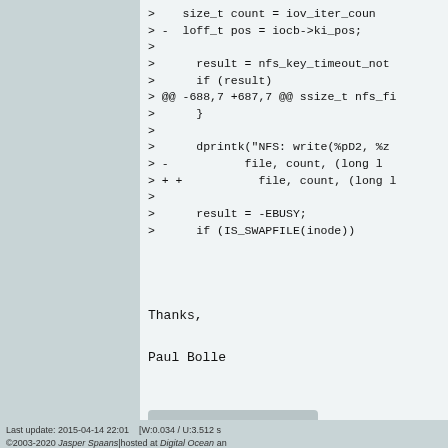> size_t count = iov_iter_coun
> -      loff_t pos = iocb->ki_pos;
>
>        result = nfs_key_timeout_not
>        if (result)
> @@ -688,7 +687,7 @@ ssize_t nfs_fi
>        }
>
>        dprintk("NFS: write(%pD2, %z
> -             file, count, (long l
> + +             file, count, (long l
>
>        result = -EBUSY;
>        if (IS_SWAPFILE(inode))
Thanks,
Paul Bolle
[Figure (other): Reddit share button]
Last update: 2015-04-14 22:01   [W:0.034 / U:3.512 s
©2003-2020 Jasper Spaans|hosted at Digital Ocean an